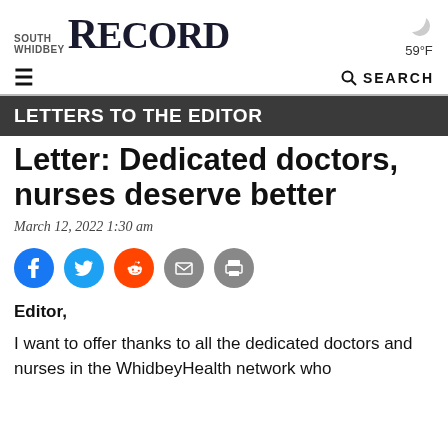South Whidbey Record — 59°F
LETTERS TO THE EDITOR
Letter: Dedicated doctors, nurses deserve better
March 12, 2022 1:30 am
[Figure (infographic): Social media share buttons: Facebook (blue), Twitter (blue), Reddit (orange), Email (gray), Print (gray)]
Editor,
I want to offer thanks to all the dedicated doctors and nurses in the WhidbeyHealth network who